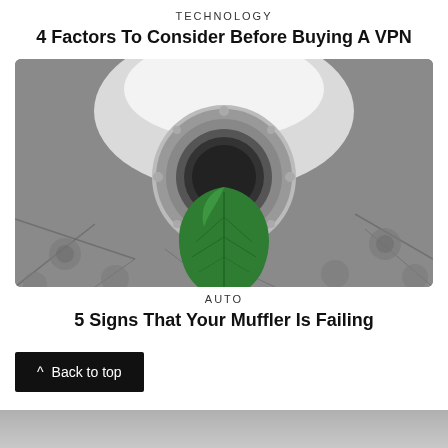TECHNOLOGY
4 Factors To Consider Before Buying A VPN
[Figure (photo): Close-up photo of a car muffler/exhaust pipe with a green leaf emerging from it, set against cracked concrete or asphalt surface. The exhaust pipe has a circular metal rim and the background is blurred gray.]
AUTO
5 Signs That Your Muffler Is Failing
Back to top